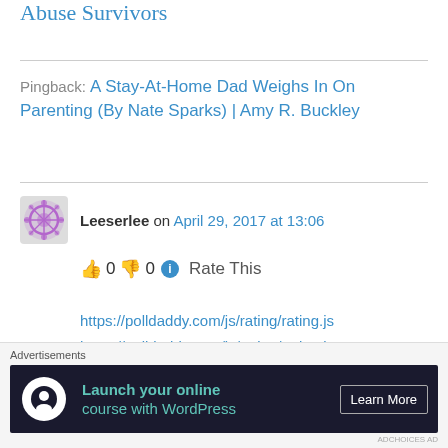Abuse Survivors
Pingback: A Stay-At-Home Dad Weighs In On Parenting (By Nate Sparks) | Amy R. Buckley
Leeserlee on April 29, 2017 at 13:06
👍 0 👎 0 ℹ Rate This
https://polldaddy.com/js/rating/rating.js
https://polldaddy.com/js/rating/rating.js
https://polldaddy.com/js/rating/rating.jsThank you for your letter and the questions you raise. I have
Advertisements
[Figure (infographic): Advertisement banner: Launch your online course with WordPress. Learn More button. Dark background with teal text.]